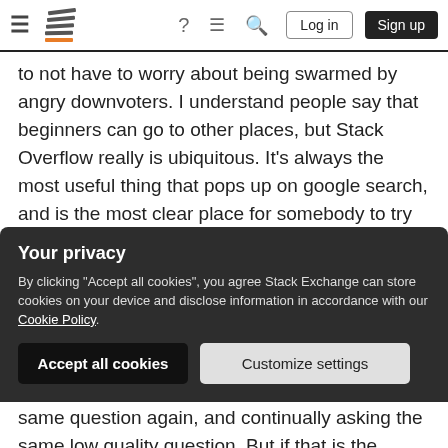Stack Overflow navigation bar with hamburger menu, logo, help icon, chat icon, search icon, Log in button, Sign up button
to not have to worry about being swarmed by angry downvoters. I understand people say that beginners can go to other places, but Stack Overflow really is ubiquitous. It's always the most useful thing that pops up on google search, and is the most clear place for somebody to try and go first. And I think it'd be nice if it was a place where everybody could get help on what problems they may have, even some that are considered "low quality" questions, and its the high quality ones that remain archived. I'm sure there are some people who don't mind
Your privacy
By clicking "Accept all cookies", you agree Stack Exchange can store cookies on your device and disclose information in accordance with our Cookie Policy.
Accept all cookies    Customize settings
same question again, and continually asking the same low quality question. But if that is the